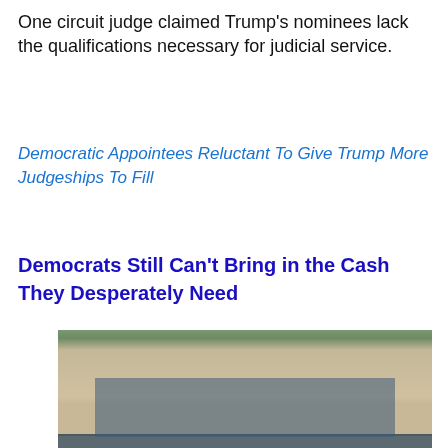One circuit judge claimed Trump's nominees lack the qualifications necessary for judicial service.
Democratic Appointees Reluctant To Give Trump More Judgeships To Fill
Democrats Still Can't Bring in the Cash They Desperately Need
[Figure (photo): Photo of Democratic National Headquarters building at 430 South Capitol Street, with ABC News logo badge in the lower right corner.]